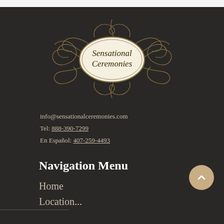[Figure (logo): Sensational Ceremonies logo — oval frame with script text on dark background, decorative gold swirl ornament surrounding it]
info@sensationalceremonies.com
Tel: 888-390-7299
En Español: 407-259-4493
Navigation Menu
Home
Location...